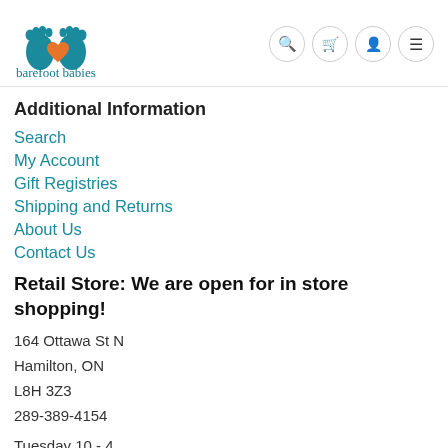[Figure (logo): Barefoot Babies logo: two teal baby footprints with an orange heart in the center, with text 'barefoot babies' below in teal serif font]
Additional Information
Search
My Account
Gift Registries
Shipping and Returns
About Us
Contact Us
Retail Store: We are open for in store shopping!
164 Ottawa St N
Hamilton, ON
L8H 3Z3
289-389-4154
Tuesday 10 - 4
Wednesday 10 - 8